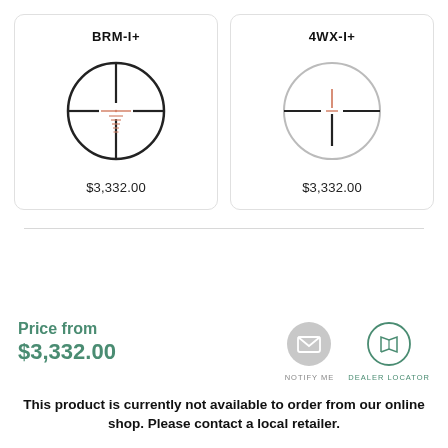[Figure (illustration): BRM-I+ reticle card showing a crosshair reticle inside a circle with BRM-I+ label and $3,332.00 price]
[Figure (illustration): 4WX-I+ reticle card showing a crosshair reticle inside a circle with 4WX-I+ label and $3,332.00 price]
Price from $3,332.00
[Figure (infographic): NOTIFY ME button icon (envelope) and DEALER LOCATOR button icon (map pin)]
This product is currently not available to order from our online shop. Please contact a local retailer.